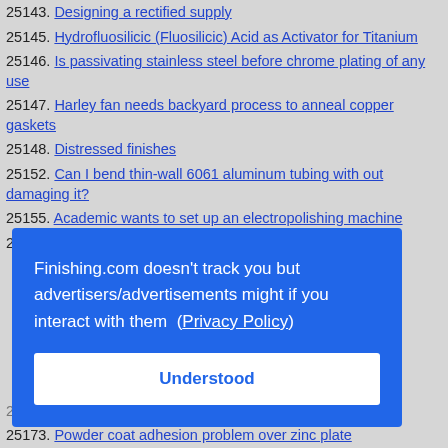25143. Designing a rectified supply
25145. Hydrofluosilicic (Fluosilicic) Acid as Activator for Titanium
25146. Is passivating stainless steel before chrome plating of any use
25147. Harley fan needs backyard process to anneal copper gaskets
25148. Distressed finishes
25152. Can I bend thin-wall 6061 aluminum tubing with out damaging it?
25155. Academic wants to set up an electropolishing machine
25157. EN thickness is reduced by baking?
Finishing.com doesn't track you but advertisers/advertisements might if you interact with them (Privacy Policy)
Understood
25173. Powder coat adhesion problem over zinc plate